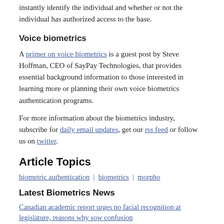instantly identify the individual and whether or not the individual has authorized access to the base.
Voice biometrics
A primer on voice biometrics is a guest post by Steve Hoffman, CEO of SayPay Technologies, that provides essential background information to those interested in learning more or planning their own voice biometrics authentication programs.
For more information about the biometrics industry, subscribe for daily email updates, get our rss feed or follow us on twitter.
Article Topics
biometric authentication | biometrics | morpho
Latest Biometrics News
Canadian academic report urges no facial recognition at legislature, reasons why sow confusion
Two ways to not protect biometric data demonstrated by world's most